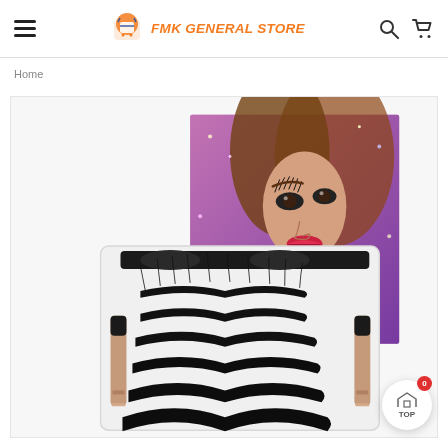FMK GENERAL STORE
Home
[Figure (photo): Product photo of a magnetic eyelash kit showing multiple pairs of false lashes in a white tray, two rose gold eyeliner tubes, and packaging with a woman's face on purple background.]